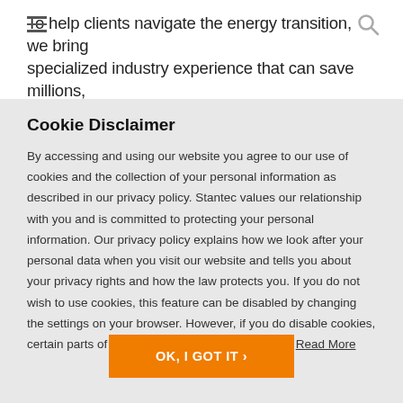To help clients navigate the energy transition, we bring specialized industry experience that can save millions,
Cookie Disclaimer
By accessing and using our website you agree to our use of cookies and the collection of your personal information as described in our privacy policy. Stantec values our relationship with you and is committed to protecting your personal information. Our privacy policy explains how we look after your personal data when you visit our website and tells you about your privacy rights and how the law protects you. If you do not wish to use cookies, this feature can be disabled by changing the settings on your browser. However, if you do disable cookies, certain parts of our site will be unavailable to you. Read More
OK, I GOT IT ›